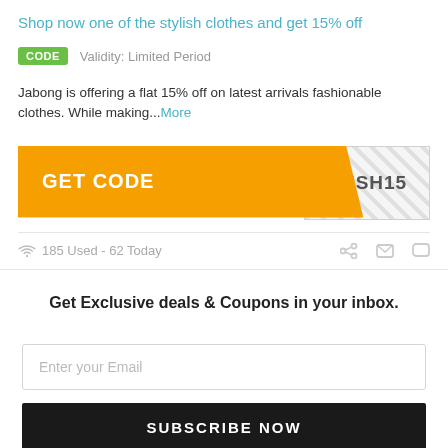Shop now one of the stylish clothes and get 15% off
CODE   Validity: Limited Period
Jabong is offering a flat 15% off on latest arrivals fashionable clothes. While making...More
[Figure (infographic): Orange 'GET CODE' button with a hatched grey code reveal area showing 'RESH15']
185 Used - 62 Today
Get Exclusive deals & Coupons in your inbox.
Enter your Email
SUBSCRIBE NOW